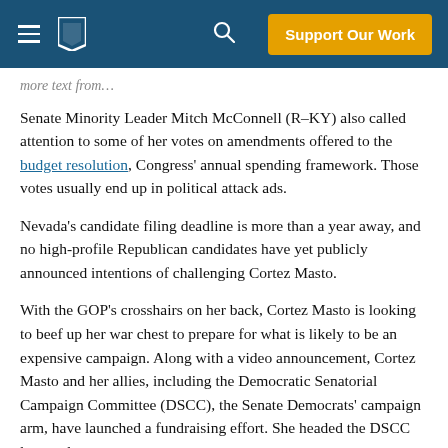Support Our Work
Senate Minority Leader Mitch McConnell (R–KY) also called attention to some of her votes on amendments offered to the budget resolution, Congress' annual spending framework. Those votes usually end up in political attack ads.
Nevada's candidate filing deadline is more than a year away, and no high-profile Republican candidates have yet publicly announced intentions of challenging Cortez Masto.
With the GOP's crosshairs on her back, Cortez Masto is looking to beef up her war chest to prepare for what is likely to be an expensive campaign. Along with a video announcement, Cortez Masto and her allies, including the Democratic Senatorial Campaign Committee (DSCC), the Senate Democrats' campaign arm, have launched a fundraising effort. She headed the DSCC last cycle.